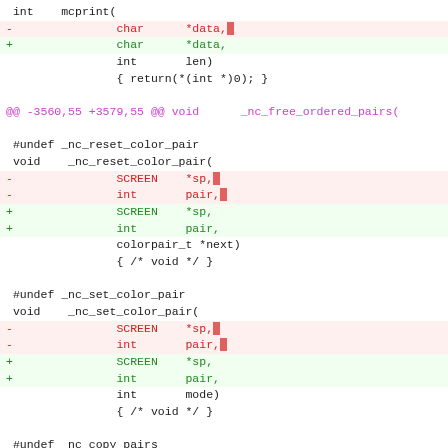int    mcprint(
-               char      *data,
+               char      *data,
                int       len)
                { return(*(int *)0); }
@@ -3560,55 +3579,55 @@ void      _nc_free_ordered_pairs(
#undef _nc_reset_color_pair
 void    _nc_reset_color_pair(
-               SCREEN    *sp,
-               int       pair,
+               SCREEN    *sp,
+               int       pair,
                colorpair_t *next)
                { /* void */ }
#undef _nc_set_color_pair
 void    _nc_set_color_pair(
-               SCREEN    *sp,
-               int       pair,
+               SCREEN    *sp,
+               int       pair,
                int       mode)
                { /* void */ }
#undef _nc_copy_pairs
 void    _nc_copy_pairs(
-               SCREEN    *sp,
-               colorpair_t *target,
-               colorpair_t *source,
+               SCREEN    *sp,